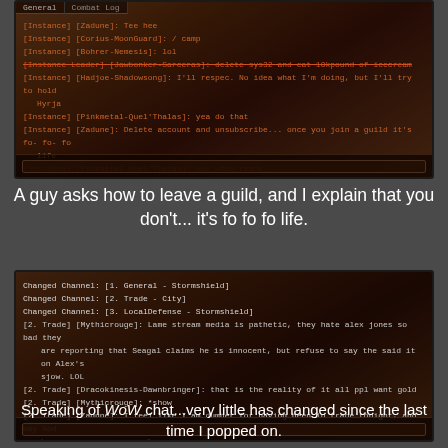[Figure (screenshot): World of Warcraft chat screenshot showing instance chat. Lines include: [Instance] [Zadune]: Tee hee, [Instance] [Corius-MoonGuard]: / camp, [Instance] [Bohrer-Nemesis]: lol, [Instance Leader] [Jawbonker-Sarceras]: delete sys32 and eat 10kpound of icecream, [Instance] [Hadjoe-Shadowsong]: I'll respec. No idea what I'm doing, but I'll try to hold Hyrja, [Instance] [Pinkmetal-Quel'Thalas]: yea do that, [Instance] [Zadune]: Delete account and unsubscribe... once you join a guild it's fo- fo- fo life, [Instance] [Pinkmetal-Quel'Thalas]: say when ready]
A guy asks how to leave a guild, and I explain that you don't... it's fo fo fo life.
[Figure (screenshot): World of Warcraft chat screenshot showing trade chat. Lines include: Changed Channel: [1. General - Stormshield], Changed Channel: [2. Trade - City], Changed Channel: [3. LocalDefense - Stormshield], [2. Trade] [Mythicrouge]: Lame stream media is pathetic, they hate alex jones so bad they are reporting that Seagal claims he is innocent, but refuse to say the said it on Alex's sjow. LOL, [2. Trade] [Dracokinesis-Dawnbringer]: that is the reality of it all ppl want gold, [2. Trade] [Mythicrouge]: *show, [2. Trade] [Zadune]: I feel like I am dumber for having been in trade tonight, and may God have mercy on your soul]
Speaking of WoW chat...very little has changed since the last time I popped on.